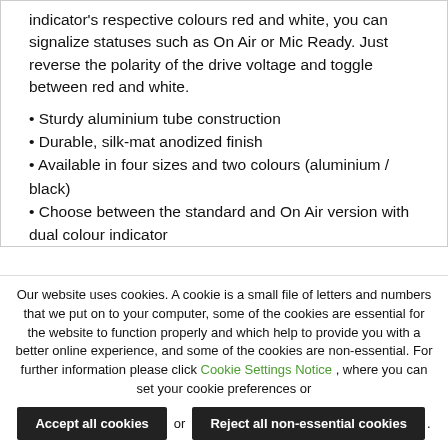indicator's respective colours red and white, you can signalize statuses such as On Air or Mic Ready. Just reverse the polarity of the drive voltage and toggle between red and white.
• Sturdy aluminium tube construction
• Durable, silk-mat anodized finish
• Available in four sizes and two colours (aluminium / black)
• Choose between the standard and On Air version with dual colour indicator
Our website uses cookies. A cookie is a small file of letters and numbers that we put on to your computer, some of the cookies are essential for the website to function properly and which help to provide you with a better online experience, and some of the cookies are non-essential. For further information please click Cookie Settings Notice , where you can set your cookie preferences or
Accept all cookies or Reject all non-essential cookies .